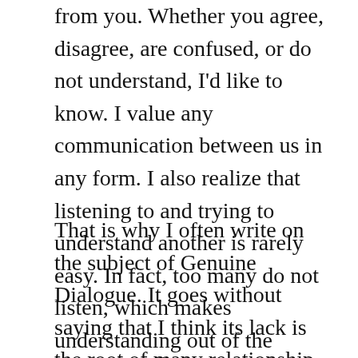from you. Whether you agree, disagree, are confused, or do not understand, I'd like to know. I value any communication between us in any form. I also realize that listening to and trying to understand another is rarely easy. In fact, too many do not listen, which makes understanding out of the question.
That is why I often write on the subject of Genuine Dialogue. It goes without saying that I think its lack is the root of many relationship problems. For some leaders, communication is often a mere monologue. Conversely, for some followers, not being present when others attempt to communicate is just as problematic. In the same way, to say a little something of